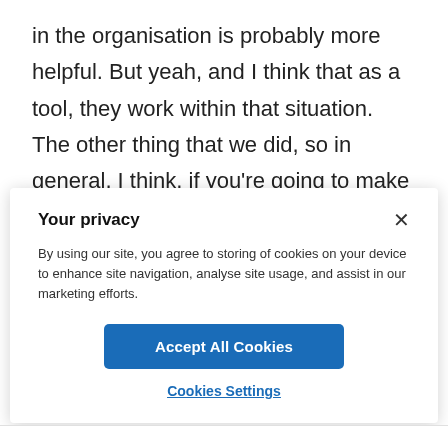in the organisation is probably more helpful. But yeah, and I think that as a tool, they work within that situation. The other thing that we did, so in general, I think, if you're going to make changes to your culture, much like if you're going to
Your privacy
By using our site, you agree to storing of cookies on your device to enhance site navigation, analyse site usage, and assist in our marketing efforts.
Accept All Cookies
Cookies Settings